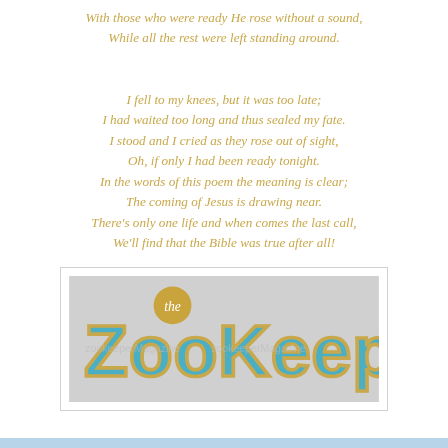With those who were ready He rose without a sound,
While all the rest were left standing around.

I fell to my knees, but it was too late;
I had waited too long and thus sealed my fate.
I stood and I cried as they rose out of sight,
Oh, if only I had been ready tonight.
In the words of this poem the meaning is clear;
The coming of Jesus is drawing near.
There's only one life and when comes the last call,
We'll find that the Bible was true after all!
[Figure (logo): The Zookeeper logo — stylized letters 'the ZooKeeper' in teal/blue block letters with a tan/gold outline on a light grey background, with a golden circle above the word 'the'.]